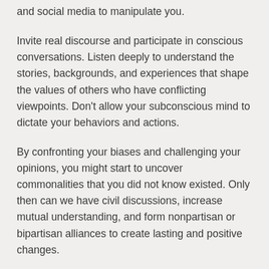and social media to manipulate you.
Invite real discourse and participate in conscious conversations. Listen deeply to understand the stories, backgrounds, and experiences that shape the values of others who have conflicting viewpoints. Don't allow your subconscious mind to dictate your behaviors and actions.
By confronting your biases and challenging your opinions, you might start to uncover commonalities that you did not know existed. Only then can we have civil discussions, increase mutual understanding, and form nonpartisan or bipartisan alliances to create lasting and positive changes.
Like many other eligible voters, I was bombarded with skewed messages on what to think of the 2020 political candidates and who to vote for and who to vote against.